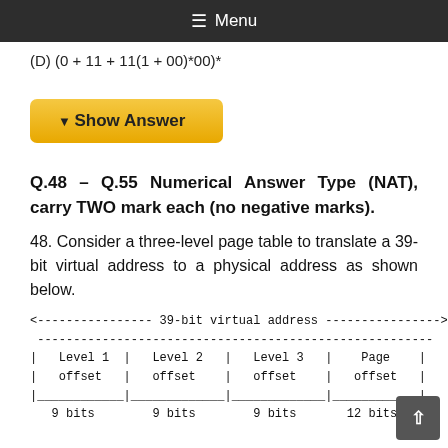≡ Menu
(D) (0 + 11 + 11(1 + 00)*00)*
▼ Show Answer
Q.48 – Q.55 Numerical Answer Type (NAT), carry TWO mark each (no negative marks).
48. Consider a three-level page table to translate a 39-bit virtual address to a physical address as shown below.
[Figure (schematic): Diagram showing a 39-bit virtual address divided into four fields: Level 1 offset (9 bits), Level 2 offset (9 bits), Level 3 offset (9 bits), and Page offset (12 bits).]